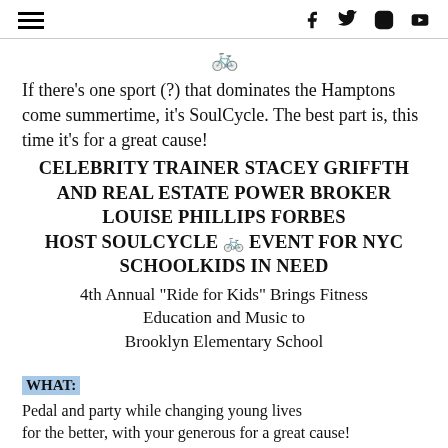Navigation menu and social icons (Facebook, Twitter, Instagram, YouTube)
[Figure (illustration): Red bicycle emoji icon centered]
If there’s one sport (?) that dominates the Hamptons come summertime, it’s SoulCycle. The best part is, this time it’s for a great cause!
CELEBRITY TRAINER STACEY GRIFFTH AND REAL ESTATE POWER BROKER LOUISE PHILLIPS FORBES HOST SOULCYCLE 🚲 EVENT FOR NYC SCHOOLKIDS IN NEED
4th Annual “Ride for Kids” Brings Fitness Education and Music to Brooklyn Elementary School
WHAT:
Pedal and party while changing young lives for the better, with your generous for a great cause!